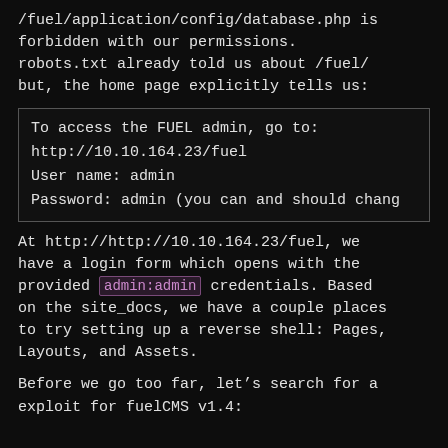/fuel/application/config/database.php is forbidden with our permissions. robots.txt already told us about /fuel/ but, the home page explicitly tells us:
To access the FUEL admin, go to:
http://10.10.164.23/fuel
User name: admin
Password: admin (you can and should chang
At http://http://10.10.164.23/fuel, we have a login form which opens with the provided admin:admin credentials. Based on the site_docs, we have a couple places to try setting up a reverse shell: Pages, Layouts, and Assets.
Before we go too far, let’s search for a exploit for fuelCMS v1.4: